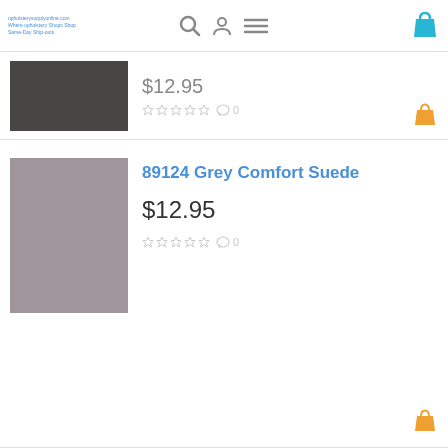upholsterysupplyonline.com / Where upholstery Shops Shop / Same-Day Ship-outs
[Figure (screenshot): Partial product card showing dark grey fabric swatch with partial price (partially visible, starting with dollar sign), star ratings (5 empty stars) and comment count 0]
[Figure (photo): Orange shopping bag icon]
89124 Grey Comfort Suede
$12.95
[Figure (screenshot): Star rating row showing 5 empty/grey stars with speech bubble icon and 0 count]
[Figure (photo): Orange shopping bag icon for second product]